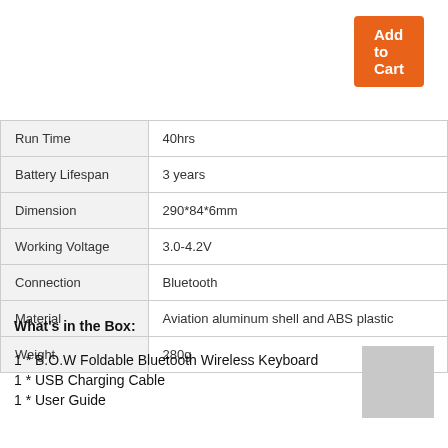Add to Cart
| Spec | Value |
| --- | --- |
| Run Time | 40hrs |
| Battery Lifespan | 3 years |
| Dimension | 290*84*6mm |
| Working Voltage | 3.0-4.2V |
| Connection | Bluetooth |
| Material | Aviation aluminum shell and ABS plastic |
| Weight | 280g |
What's in the Box:
1 * B.O.W Foldable Bluetooth Wireless Keyboard
1 * USB Charging Cable
1 * User Guide
[Figure (photo): Gray rectangle placeholder image]